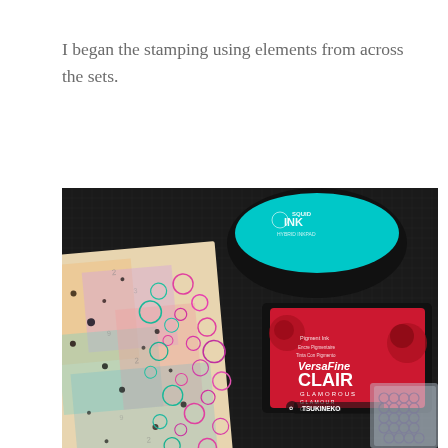I began the stamping using elements from across the sets.
[Figure (photo): Photograph showing crafting supplies including a teal/turquoise 'Squid Ink Hybrid Inkpad', a red 'VersaFine Clair Glamorous' pigment ink pad by Tsukineko, a decorative mixed-media art journal page with colorful bubble/circle stamps and splattered ink, and a clear acrylic stamp block, all arranged on a black grid cutting mat.]